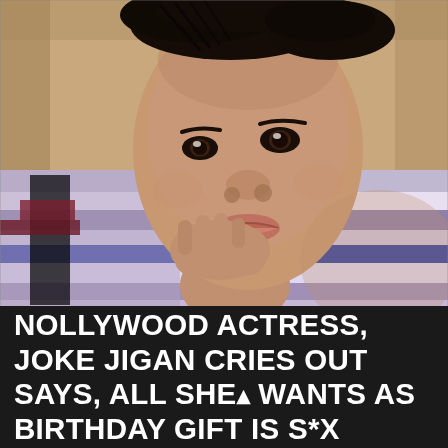[Figure (photo): A young Black woman lying down with her head resting on her hands, wearing a striped purple/blue/white shirt, looking at the camera with a pouty expression. The background is a warm beige/tan color.]
NOLLYWOOD ACTRESS, JOKE JIGAN CRIES OUT SAYS, ALL SHE WANTS AS BIRTHDAY GIFT IS S*X